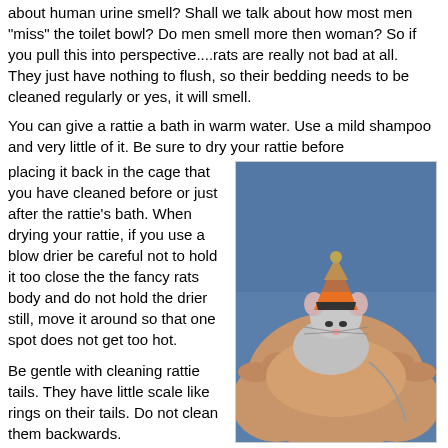about human urine smell? Shall we talk about how most men "miss" the toilet bowl? Do men smell more then woman? So if you pull this into perspective....rats are really not bad at all. They just have nothing to flush, so their bedding needs to be cleaned regularly or yes, it will smell.
You can give a rattie a bath in warm water. Use a mild shampoo and very little of it. Be sure to dry your rattie before placing it back in the cage that you have cleaned before or just after the rattie's bath. When drying your rattie, if you use a blow drier be careful not to hold it too close the the fancy rats body and do not hold the drier still, move it around so that one spot does not get too hot.
[Figure (photo): A rat wearing a small orange and yellow cone hat (like a wizard hat) being held in someone's hands. The person is wearing a blue shirt. The rat is gray and white.]
Harry who?
Be gentle with cleaning rattie tails. They have little scale like rings on their tails. Do not clean them backwards.
You can also use baby wipes to clean or even spot clean your ratties. Again, do not wash the tail backwards, away from their bodies only.
QUIET